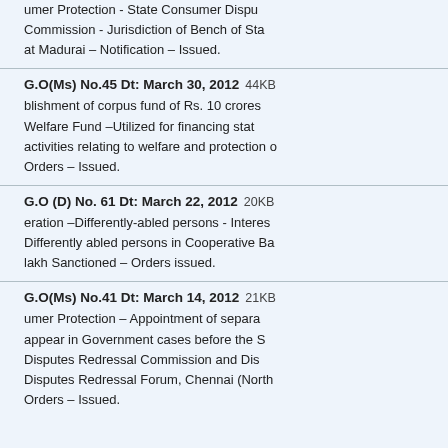G.O(Ms)No.45 Dt: April 22, 2012  11KB umer Protection - State Consumer Disputes Commission - Jurisdiction of Bench of State at Madurai – Notification – Issued.
G.O(Ms) No.45 Dt: March 30, 2012  44KB blishment of corpus fund of Rs. 10 crores Welfare Fund –Utilized for financing state activities relating to welfare and protection of consumers – Orders – Issued.
G.O (D) No. 61 Dt: March 22, 2012  20KB eration –Differently-abled persons - Interest free loan to Differently abled persons in Cooperative Banks – Rs. 1 lakh Sanctioned – Orders issued.
G.O(Ms) No.41 Dt: March 14, 2012  21KB umer Protection – Appointment of separate advocates to appear in Government cases before the State Consumer Disputes Redressal Commission and District Consumer Disputes Redressal Forum, Chennai (North) – Orders – Issued.